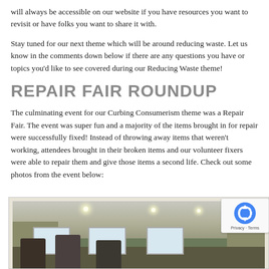will always be accessible on our website if you have resources you want to revisit or have folks you want to share it with.
Stay tuned for our next theme which will be around reducing waste. Let us know in the comments down below if there are any questions you have or topics you’d like to see covered during our Reducing Waste theme!
REPAIR FAIR ROUNDUP
The culminating event for our Curbing Consumerism theme was a Repair Fair. The event was super fun and a majority of the items brought in for repair were successfully fixed! Instead of throwing away items that weren’t working, attendees brought in their broken items and our volunteer fixers were able to repair them and give those items a second life. Check out some photos from the event below:
[Figure (photo): Indoor photo of a room with yellow-green walls, ceiling lights, windows with curtains, and several people gathered around tables at the Repair Fair event.]